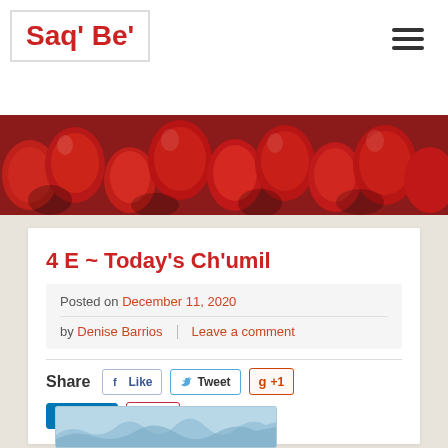Saq' Be'
[Figure (photo): Banner photo showing red tomatoes or berries close up]
4 E ~ Today's Ch'umil
Posted on December 11, 2020 by Denise Barrios  Leave a comment
Share  Like  Tweet  +1  Share  Pin it